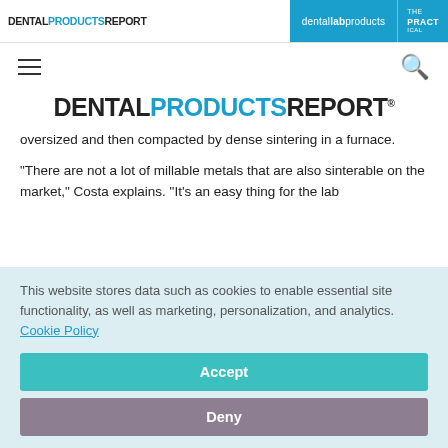DENTAL PRODUCTS REPORT | dental lab products | THE PRACT
[Figure (logo): Dental Products Report logo with blue PRODUCTS text]
oversized and then compacted by dense sintering in a furnace.
“There are not a lot of millable metals that are also sinterable on the market,” Costa explains. “It’s an easy thing for the lab
This website stores data such as cookies to enable essential site functionality, as well as marketing, personalization, and analytics. Cookie Policy
Accept
Deny